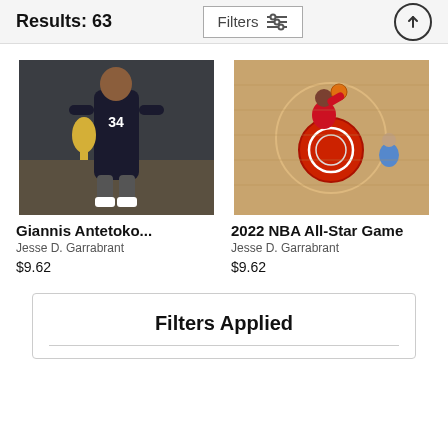Results: 63
Filters
[Figure (photo): Giannis Antetokounmpo holding the NBA championship trophy, wearing Milwaukee Bucks jersey number 34]
Giannis Antetoko...
Jesse D. Garrabrant
$9.62
[Figure (photo): 2022 NBA All-Star Game aerial view of player dunking through hoop on basketball court]
2022 NBA All-Star Game
Jesse D. Garrabrant
$9.62
Filters Applied